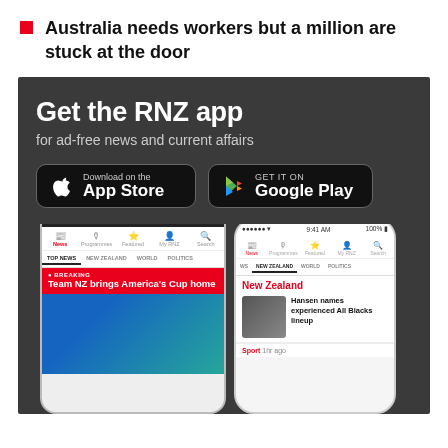Australia needs workers but a million are stuck at the door
[Figure (infographic): RNZ app advertisement on dark background with title 'Get the RNZ app', subtitle 'for ad-free news and current affairs', App Store and Google Play download buttons, and two smartphone mockups showing the RNZ news app interface.]